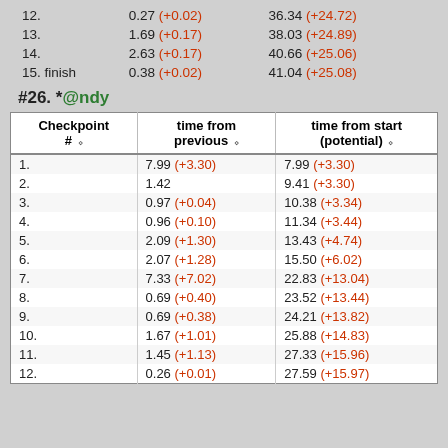| 12. | 0.27 (+0.02) | 36.34 (+24.72) |
| 13. | 1.69 (+0.17) | 38.03 (+24.89) |
| 14. | 2.63 (+0.17) | 40.66 (+25.06) |
| 15. finish | 0.38 (+0.02) | 41.04 (+25.08) |
#26. *@ndy
| Checkpoint # | time from previous | time from start (potential) |
| --- | --- | --- |
| 1. | 7.99 (+3.30) | 7.99 (+3.30) |
| 2. | 1.42 | 9.41 (+3.30) |
| 3. | 0.97 (+0.04) | 10.38 (+3.34) |
| 4. | 0.96 (+0.10) | 11.34 (+3.44) |
| 5. | 2.09 (+1.30) | 13.43 (+4.74) |
| 6. | 2.07 (+1.28) | 15.50 (+6.02) |
| 7. | 7.33 (+7.02) | 22.83 (+13.04) |
| 8. | 0.69 (+0.40) | 23.52 (+13.44) |
| 9. | 0.69 (+0.38) | 24.21 (+13.82) |
| 10. | 1.67 (+1.01) | 25.88 (+14.83) |
| 11. | 1.45 (+1.13) | 27.33 (+15.96) |
| 12. | 0.26 (+0.01) | 27.59 (+15.97) |